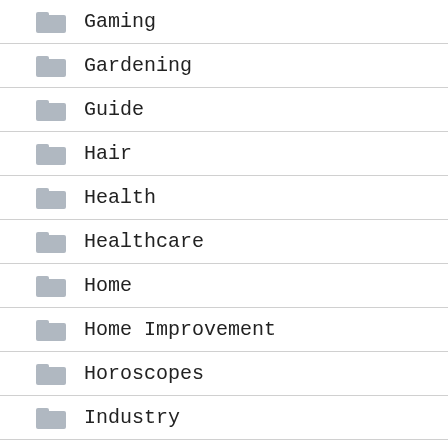Gaming
Gardening
Guide
Hair
Health
Healthcare
Home
Home Improvement
Horoscopes
Industry
Insurance